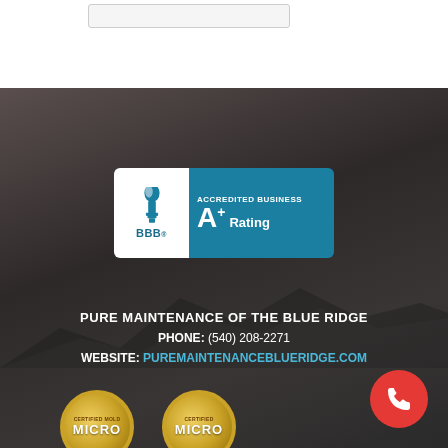[Figure (logo): BBB Accredited Business A+ Rating badge - teal/white badge with BBB torch logo on white left panel and 'Accredited Business A+ Rating' text on teal right panel]
PURE MAINTENANCE OF THE BLUE RIDGE
PHONE: (540) 208-2271
WEBSITE: PUREMAINTENANCEBLUERIDGE.COM
[Figure (logo): Two gold circular certification badges with 'CERTIFIED MOLD' and 'MICRO' text, bottom partially visible]
[Figure (illustration): Red circular call button with white phone handset icon, bottom-right corner]